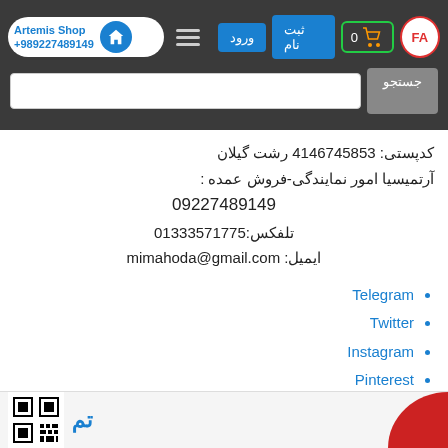[Figure (screenshot): Navigation bar with Artemis Shop logo, phone number, home icon, hamburger menu, login/register buttons, cart, FA language button, and search bar]
کدپستی: 4146745853 رشت گیلان
آرتمیسیا امور نمایندگی-فروش عمده :
09227489149
تلفکس:01333571775
ایمیل: mimahoda@gmail.com
Telegram
Twitter
Instagram
Pinterest
[Figure (screenshot): Footer strip with QR code on the left, partial Arabic/Persian logo text in blue in the center, and a red decorative shape on the right]